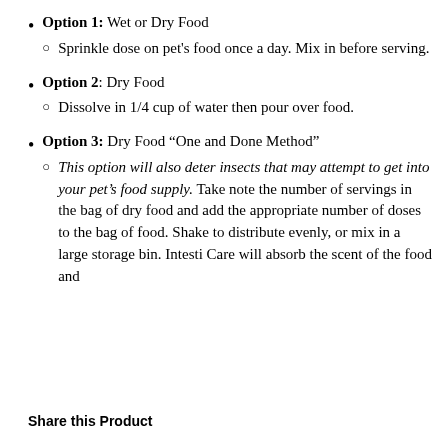Option 1: Wet or Dry Food
Sprinkle dose on pet's food once a day. Mix in before serving.
Option 2: Dry Food
Dissolve in 1/4 cup of water then pour over food.
Option 3: Dry Food “One and Done Method”
This option will also deter insects that may attempt to get into your pet’s food supply. Take note the number of servings in the bag of dry food and add the appropriate number of doses to the bag of food. Shake to distribute evenly, or mix in a large storage bin. Intesti Care will absorb the scent of the food and
Share this Product